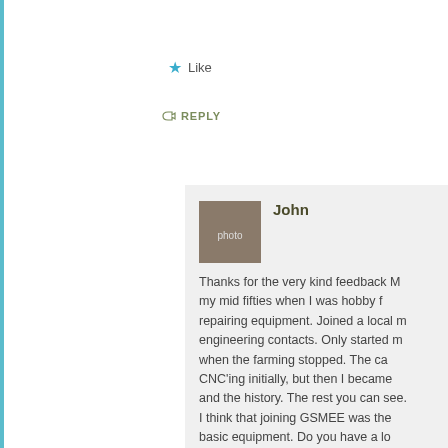★ Like
REPLY
John
Thanks for the very kind feedback M… my mid fifties when I was hobby f… repairing equipment. Joined a local m… engineering contacts. Only started m… when the farming stopped. The ca… CNC'ing initially, but then I became… and the history. The rest you can see. I think that joining GSMEE was the… basic equipment. Do you have a loc… Worth considering. John
★ Like
REPLY